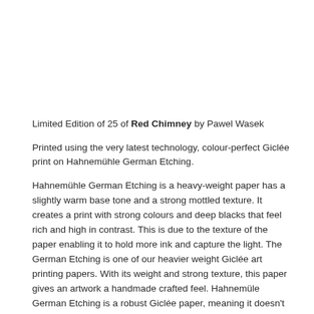Limited Edition of 25 of Red Chimney by Pawel Wasek
Printed using the very latest technology, colour-perfect Giclée print on Hahnemühle German Etching.
Hahnemühle German Etching is a heavy-weight paper has a slightly warm base tone and a strong mottled texture. It creates a print with strong colours and deep blacks that feel rich and high in contrast. This is due to the texture of the paper enabling it to hold more ink and capture the light. The German Etching is one of our heavier weight Giclée art printing papers. With its weight and strong texture, this paper gives an artwork a handmade crafted feel. Hahnemüle German Etching is a robust Giclée paper, meaning it doesn't tend to fray as much at the edges.